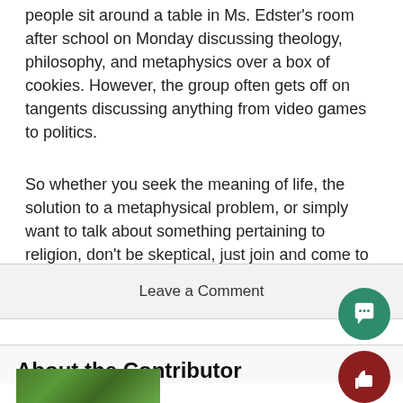people sit around a table in Ms. Edster's room after school on Monday discussing theology, philosophy, and metaphysics over a box of cookies. However, the group often gets off on tangents discussing anything from video games to politics.
So whether you seek the meaning of life, the solution to a metaphysical problem, or simply want to talk about something pertaining to religion, don't be skeptical, just join and come to discuss.
Leave a Comment
About the Contributor
[Figure (photo): Green foliage photo at the bottom of the page, partially visible]